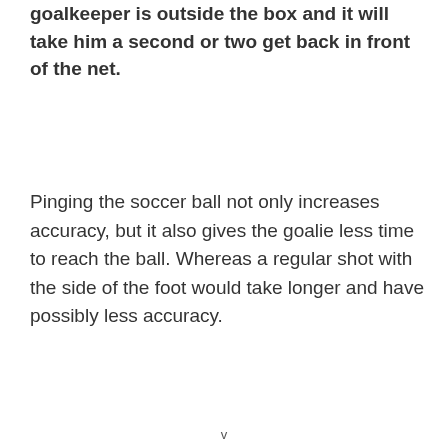goalkeeper is outside the box and it will take him a second or two get back in front of the net.
Pinging the soccer ball not only increases accuracy, but it also gives the goalie less time to reach the ball. Whereas a regular shot with the side of the foot would take longer and have possibly less accuracy.
v